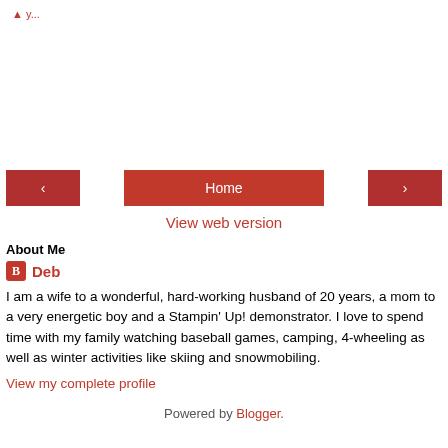View web version
About Me
Deb
I am a wife to a wonderful, hard-working husband of 20 years, a mom to a very energetic boy and a Stampin' Up! demonstrator. I love to spend time with my family watching baseball games, camping, 4-wheeling as well as winter activities like skiing and snowmobiling.
View my complete profile
Powered by Blogger.